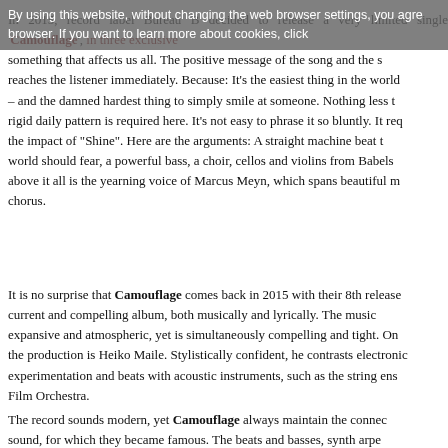By using this website, without changing the web browser settings, you agree browser. If you want to learn more about cookies, click
In 2015, record label Bureau B decided to release a very limited single 'Camouflage', all in three exclusive something that affects us all. The positive message of the song and the s reaches the listener immediately. Because: It's the easiest thing in the world – and the damned hardest thing to simply smile at someone. Nothing less t rigid daily pattern is required here. It's not easy to phrase it so bluntly. It req the impact of "Shine". Here are the arguments: A straight machine beat t world should fear, a powerful bass, a choir, cellos and violins from Babels above it all is the yearning voice of Marcus Meyn, which spans beautiful m chorus.
It is no surprise that Camouflage comes back in 2015 with their 8th release current and compelling album, both musically and lyrically. The music expansive and atmospheric, yet is simultaneously compelling and tight. On the production is Heiko Maile. Stylistically confident, he contrasts electronic experimentation and beats with acoustic instruments, such as the string ens Film Orchestra.
The record sounds modern, yet Camouflage always maintain the connec sound, for which they became famous. The beats and basses, synth arpe their unmistakable fingerprint, equally as characteristic as the touchingly Marcus Meyn.